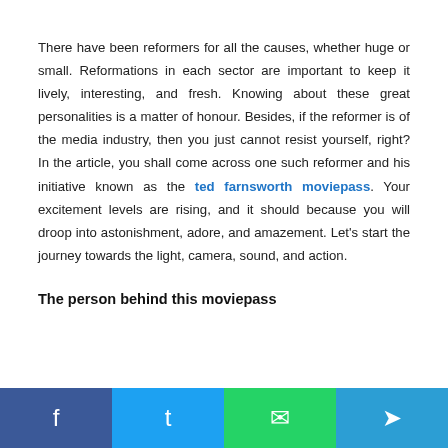There have been reformers for all the causes, whether huge or small. Reformations in each sector are important to keep it lively, interesting, and fresh. Knowing about these great personalities is a matter of honour. Besides, if the reformer is of the media industry, then you just cannot resist yourself, right? In the article, you shall come across one such reformer and his initiative known as the ted farnsworth moviepass. Your excitement levels are rising, and it should because you will droop into astonishment, adore, and amazement. Let's start the journey towards the light, camera, sound, and action.
The person behind this moviepass
Social share buttons: Facebook, Twitter, WhatsApp, Telegram